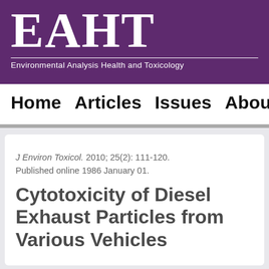[Figure (logo): EAHT journal logo with full name 'Environmental Analysis Health and Toxicology' on purple banner background]
Home  Articles  Issues  About
J Environ Toxicol. 2010; 25(2): 111-120.
Published online 1986 January 01.
Cytotoxicity of Diesel Exhaust Particles from Various Vehicles